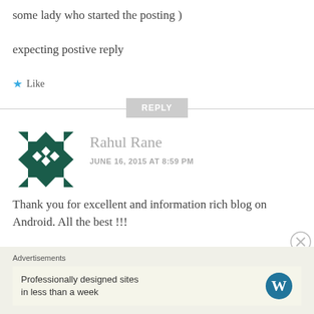some lady who started the posting )

expecting postive reply
★ Like
REPLY
[Figure (illustration): Avatar icon for Rahul Rane — a dark green geometric/quilt pattern square icon with diamond shapes and arrow-like triangles pointing outward on all sides.]
Rahul Rane
JUNE 16, 2015 AT 8:59 PM
Thank you for excellent and information rich blog on Android. All the best !!!
Advertisements
Professionally designed sites in less than a week